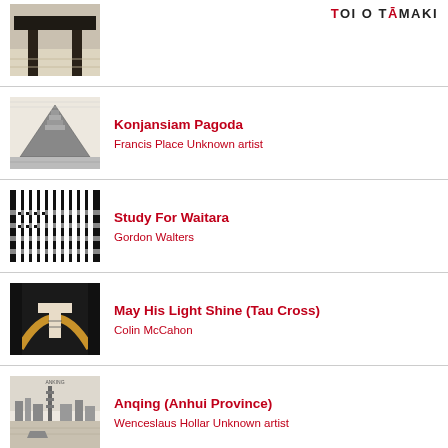TOI O TĀMAKI
[Figure (photo): Partial view of a table with dark wooden legs on a light wooden floor, cropped at top]
[Figure (photo): Engraving of Konjansiam Pagoda, a mountain-like pagoda structure with surrounding landscape]
Konjansiam Pagoda
Francis Place Unknown artist
[Figure (photo): Abstract black and white geometric pattern, Study For Waitara by Gordon Walters]
Study For Waitara
Gordon Walters
[Figure (photo): May His Light Shine (Tau Cross) painting by Colin McCahon showing a cross form with golden arch]
May His Light Shine (Tau Cross)
Colin McCahon
[Figure (photo): Engraving of Anqing (Anhui Province), showing a riverside cityscape with buildings and boats]
Anqing (Anhui Province)
Wenceslaus Hollar Unknown artist